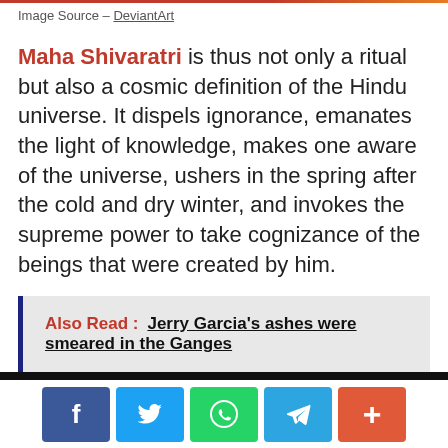Image Source – DeviantArt
Maha Shivaratri is thus not only a ritual but also a cosmic definition of the Hindu universe. It dispels ignorance, emanates the light of knowledge, makes one aware of the universe, ushers in the spring after the cold and dry winter, and invokes the supreme power to take cognizance of the beings that were created by him.
Also Read :  Jerry Garcia's ashes were smeared in the Ganges